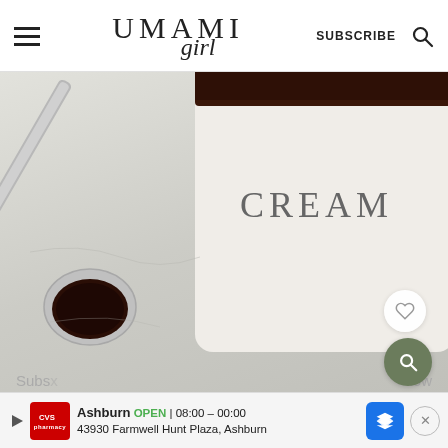UMAMI girl — SUBSCRIBE
[Figure (photo): Close-up photo of a white ceramic cream mug labeled CREAM filled with dark chocolate, next to a silver spoon with dark chocolate sauce, on a marble surface. Heart button and search button visible on right side.]
Hungry for more?
Subscribe ... follow
Ashburn OPEN 08:00 – 00:00 43930 Farmwell Hunt Plaza, Ashburn